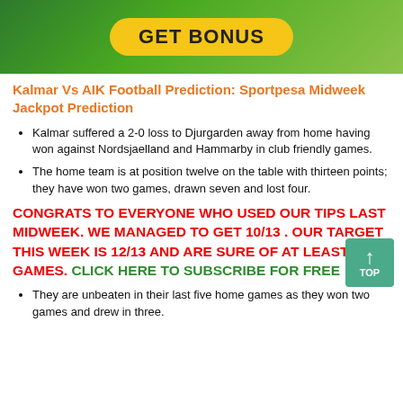[Figure (illustration): Green sports betting banner with yellow 'GET BONUS' button on a football field background]
Kalmar Vs AIK Football Prediction: Sportpesa Midweek Jackpot Prediction
Kalmar suffered a 2-0 loss to Djurgarden away from home having won against Nordsjaelland and Hammarby in club friendly games.
The home team is at position twelve on the table with thirteen points; they have won two games, drawn seven and lost four.
CONGRATS TO EVERYONE WHO USED OUR TIPS LAST MIDWEEK. WE MANAGED TO GET 10/13 . OUR TARGET THIS WEEK IS 12/13 AND ARE SURE OF AT LEAST 10 GAMES. CLICK HERE TO SUBSCRIBE FOR FREE
They are unbeaten in their last five home games as they won two games and drew in three.